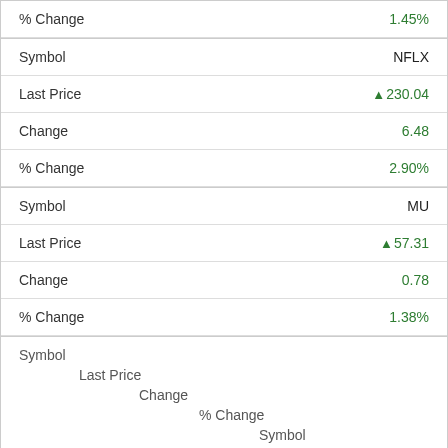| Field | Value |
| --- | --- |
| % Change | 1.45% |
| Symbol | NFLX |
| Last Price | ▲230.04 |
| Change | 6.48 |
| % Change | 2.90% |
| Symbol | MU |
| Last Price | ▲57.31 |
| Change | 0.78 |
| % Change | 1.38% |
| Symbol |  |
| Last Price |  |
| Change |  |
| % Change |  |
| Symbol | AMZN |
| Last Price | ▲127.82 |
| Change | 1.05 |